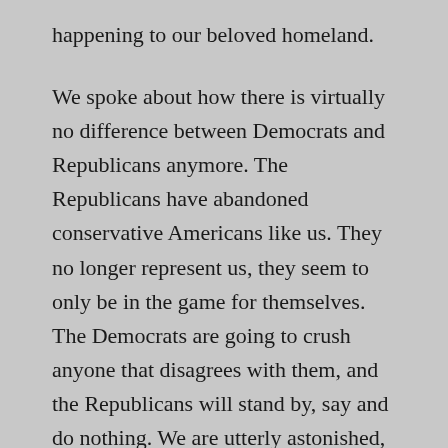happening to our beloved homeland.
We spoke about how there is virtually no difference between Democrats and Republicans anymore. The Republicans have abandoned conservative Americans like us. They no longer represent us, they seem to only be in the game for themselves. The Democrats are going to crush anyone that disagrees with them, and the Republicans will stand by, say and do nothing. We are utterly astonished, at the disinterest the Republicans are showing while the left is dismantling our nation. Everyday Americans are outraged, our representatives don't seem to notice.
The conversation then took a lighter tone, and we laughed about Joe Biden and his obsession with wearing